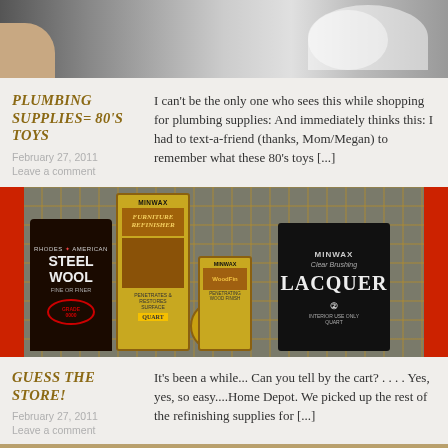[Figure (photo): Top photo showing plumbing supplies, white plastic pieces and a hand holding something, partially cropped]
PLUMBING SUPPLIES= 80'S TOYS
February 27, 2011
Leave a comment
I can't be the only one who sees this while shopping for plumbing supplies: And immediately thinks this: I had to text-a-friend (thanks, Mom/Megan) to remember what these 80's toys [...]
[Figure (photo): Photo of Home Depot shopping cart with refinishing supplies: Rhodes American Steel Wool, Minwax Furniture Refinisher, small open can, Minwax WoodFin, and Minwax Clear Brushing Lacquer]
GUESS THE STORE!
February 27, 2011
Leave a comment
It's been a while... Can you tell by the cart? . . . . Yes, yes, so easy....Home Depot. We picked up the rest of the refinishing supplies for [...]
[Figure (photo): Bottom photo partially visible, warm toned image cut off at page bottom]